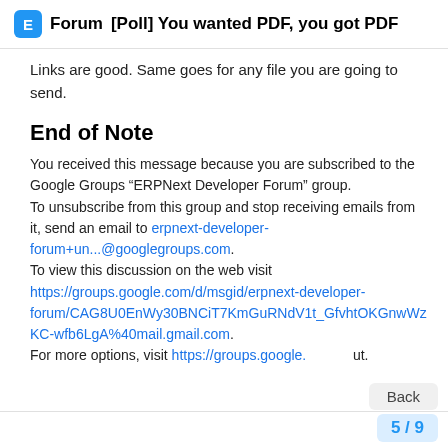Forum [Poll] You wanted PDF, you got PDF
Links are good. Same goes for any file you are going to send.
End of Note
You received this message because you are subscribed to the Google Groups “ERPNext Developer Forum” group. To unsubscribe from this group and stop receiving emails from it, send an email to erpnext-developer-forum+un...@googlegroups.com. To view this discussion on the web visit https://groups.google.com/d/msgid/erpnext-developer-forum/CAG8U0EnWy30BNCiT7KmGuRNdV1t_GfvhtOKGnwWzKC-wfb6LgA%40mail.gmail.com. For more options, visit https://groups.google. ...ut.
5 / 9